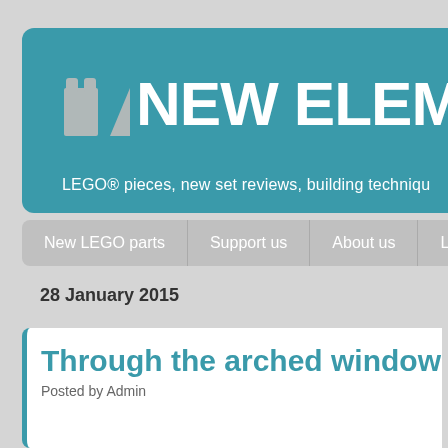[Figure (logo): NEW ELEMENT website logo with LEGO brick icons on teal/teal-green background banner]
LEGO® pieces, new set reviews, building techniqu…
New LEGO parts | Support us | About us | LE…
28 January 2015
Through the arched window
Posted by Admin